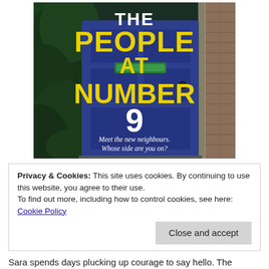[Figure (illustration): Book cover for 'The People at Number 9' showing a blue front door with green ivy/hedges on either side, brick wall visible on right. Yellow bold text reads 'THE PEOPLE AT NUMBER 9'. White italic text reads 'Meet the new neighbours. Whose side are you on?']
Privacy & Cookies: This site uses cookies. By continuing to use this website, you agree to their use.
To find out more, including how to control cookies, see here:
Cookie Policy
Close and accept
Sara spends days plucking up courage to say hello. The